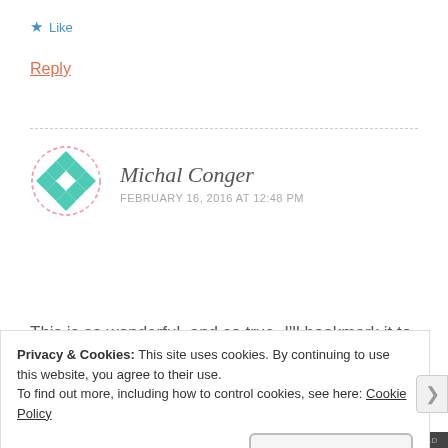★ Like
Reply
[Figure (illustration): Circular avatar with teal/green diamond pattern on white background, pink dashed border]
Michal Conger
FEBRUARY 16, 2016 AT 12:48 PM
This is so wonderful, and so true. I'll bookmark it to share with my own daughters later. 🙂
★ Like
Privacy & Cookies: This site uses cookies. By continuing to use this website, you agree to their use.
To find out more, including how to control cookies, see here: Cookie Policy
Close and accept